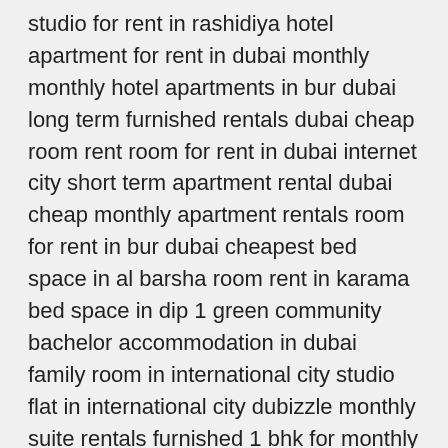studio for rent in rashidiya hotel apartment for rent in dubai monthly monthly hotel apartments in bur dubai long term furnished rentals dubai cheap room rent room for rent in dubai internet city short term apartment rental dubai cheap monthly apartment rentals room for rent in bur dubai cheapest bed space in al barsha room rent in karama bed space in dip 1 green community bachelor accommodation in dubai family room in international city studio flat in international city dubizzle monthly suite rentals furnished 1 bhk for monthly rent in dubai master bedroom for rent in dubai house for rent in al barsha bedspace room for rent in bur dubai monthly basis furnished family room for monthly rent in deira dubai studio for rent in dubai monthly 1500 studio room for rent in dubai dubizzle international city studio studio flat in international city phase 2 family room in bur dubai studio flat for rent in al nahda sharjah hotel apartments monthly in dubai studio apartments accommodation hotel apartments in dubai marina for monthly rent cheap studio flats in bur dubai partition room for rent bed space for rent in dubai